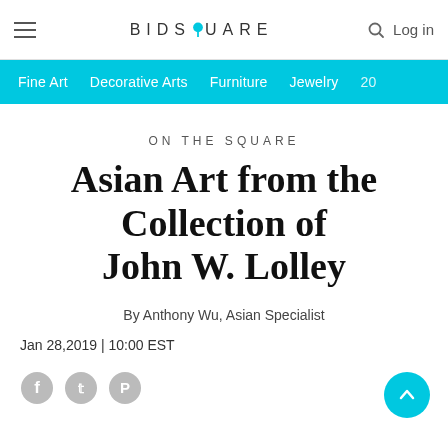BIDSQUARE  Log in
ON THE SQUARE
Asian Art from the Collection of John W. Lolley
By Anthony Wu, Asian Specialist
Jan 28,2019 | 10:00 EST
[Figure (other): Social sharing icons: Facebook, Twitter, Pinterest]